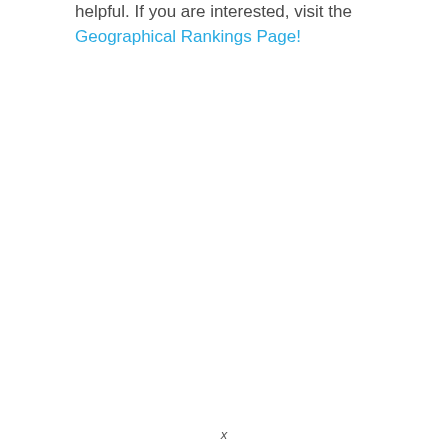helpful. If you are interested, visit the Geographical Rankings Page!
x